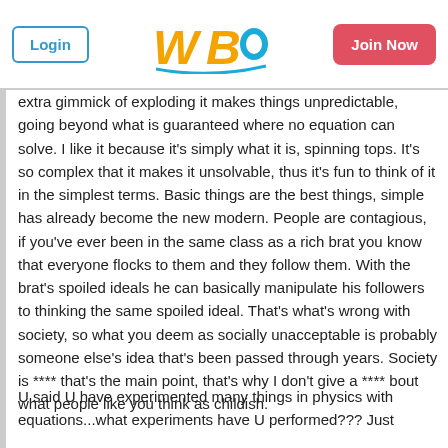Login | WBO logo | Join Now
extra gimmick of exploding it makes things unpredictable, going beyond what is guaranteed where no equation can solve. I like it because it's simply what it is, spinning tops. It's so complex that it makes it unsolvable, thus it's fun to think of it in the simplest terms. Basic things are the best things, simple has already become the new modern. People are contagious, if you've ever been in the same class as a rich brat you know that everyone flocks to them and they follow them. With the brat's spoiled ideals he can basically manipulate his followers to thinking the same spoiled ideal. That's what's wrong with society, so what you deem as socially unacceptable is probably someone else's idea that's been passed through years. Society is **** that's the main point, that's why I don't give a **** bout what people like you think as childish.
U said U have experimented many things in physics with equations...what experiments have U performed??? Just